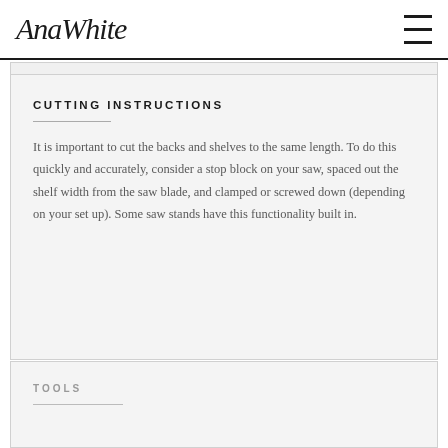AnaWhite
CUTTING INSTRUCTIONS
It is important to cut the backs and shelves to the same length. To do this quickly and accurately, consider a stop block on your saw, spaced out the shelf width from the saw blade, and clamped or screwed down (depending on your set up). Some saw stands have this functionality built in.
TOOLS